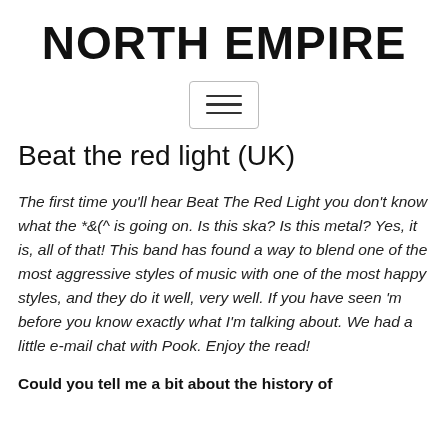NORTH EMPIRE
[Figure (other): hamburger menu icon inside a rounded rectangle border]
Beat the red light (UK)
The first time you'll hear Beat The Red Light you don't know what the *&(^ is going on. Is this ska? Is this metal? Yes, it is, all of that! This band has found a way to blend one of the most aggressive styles of music with one of the most happy styles, and they do it well, very well. If you have seen 'm before you know exactly what I'm talking about. We had a little e-mail chat with Pook. Enjoy the read!
Could you tell me a bit about the history of